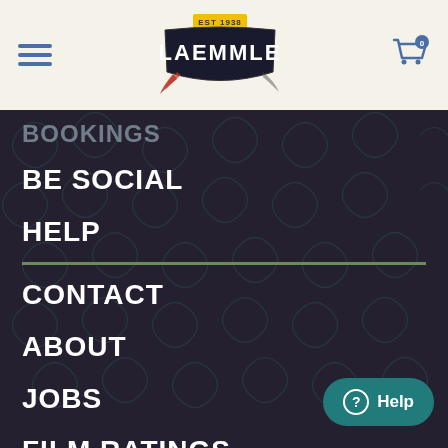[Figure (logo): Laemmle cinema logo with EST 1938 banner and decorative feather/ribbon design]
BOOKINGS
BE SOCIAL
HELP
CONTACT
ABOUT
JOBS
FILM RATINGS
ADVERTISING
Help